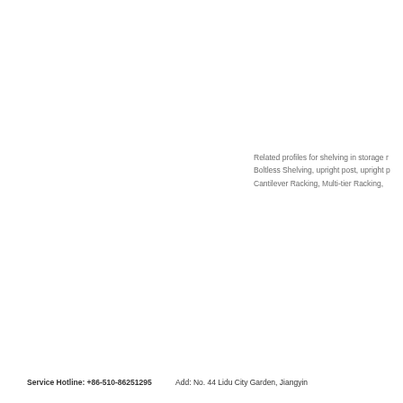Related profiles for shelving in storage r...
Boltless Shelving, upright post, upright p...
Cantilever Racking, Multi-tier Racking,...
Service Hotline: +86-510-86251295    Add: No. 44 Lidu City Garden, Jiangyin...